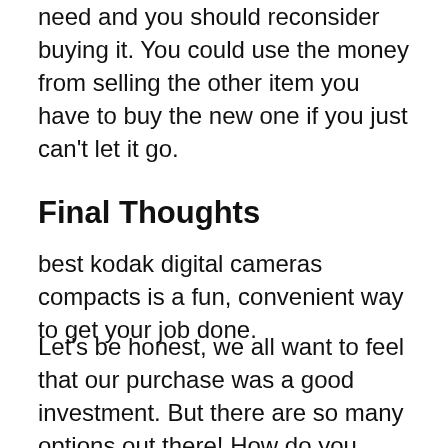need and you should reconsider buying it. You could use the money from selling the other item you have to buy the new one if you just can't let it go.
Final Thoughts
best kodak digital cameras compacts is a fun, convenient way to get your job done.
Let's be honest, we all want to feel that our purchase was a good investment. But there are so many options out there! How do you know which one is the best kodak digital cameras compacts? There's no need to worry about it because John Harvards has your back. Our knowledgeable staff is here to help guide you through each step of the